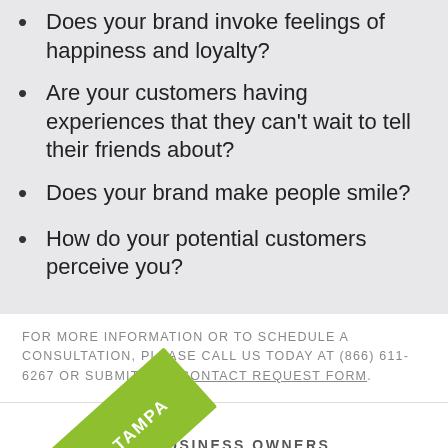— LEVERAGE
Does your brand invoke feelings of happiness and loyalty?
Are your customers having experiences that they can't wait to tell their friends about?
Does your brand make people smile?
How do your potential customers perceive you?
FOR MORE INFORMATION OR TO SCHEDULE A CONSULTATION, PLEASE CALL US TODAY AT (866) 611-6267 OR SUBMIT OUR CONTACT REQUEST FORM.
[Figure (illustration): Green diagonal ribbon/banner in bottom-left corner with white text reading 'MADE IN TAMPA']
OR BUSINESS OWNERS